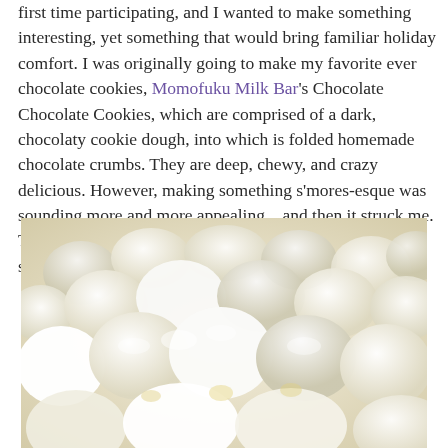first time participating, and I wanted to make something interesting, yet something that would bring familiar holiday comfort. I was originally going to make my favorite ever chocolate cookies, Momofuku Milk Bar's Chocolate Chocolate Cookies, which are comprised of a dark, chocolaty cookie dough, into which is folded homemade chocolate crumbs. They are deep, chewy, and crazy delicious. However, making something s'mores-esque was sounding more and more appealing... and then it struck me. Those chocolate cookies could be easily adapted for s'mores goodness!
[Figure (photo): Close-up photograph of mini marshmallows, white and slightly cream-colored, piled together filling the frame]